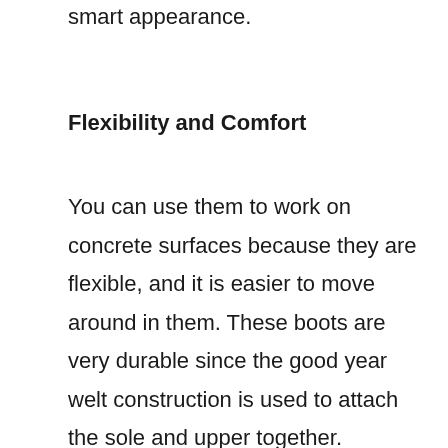smart appearance.
Flexibility and Comfort
You can use them to work on concrete surfaces because they are flexible, and it is easier to move around in them. These boots are very durable since the good year welt construction is used to attach the sole and upper together.